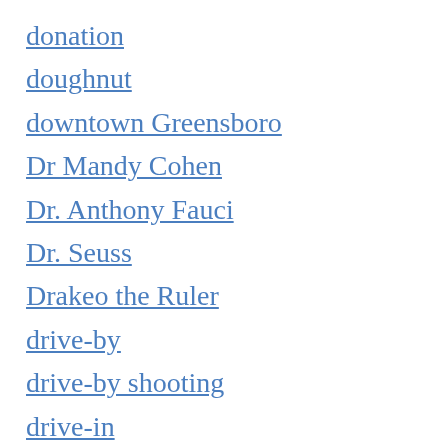donation
doughnut
downtown Greensboro
Dr Mandy Cohen
Dr. Anthony Fauci
Dr. Seuss
Drakeo the Ruler
drive-by
drive-by shooting
drive-in
driving
driving while impaired
Drone
drought
Drown